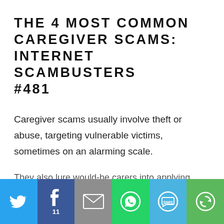THE 4 MOST COMMON CAREGIVER SCAMS: INTERNET SCAMBUSTERS #481
Caregiver scams usually involve theft or abuse, targeting vulnerable victims, sometimes on an alarming scale.
They also lure would-be carers into applying
[Figure (infographic): Social sharing bar with Twitter, Facebook (11 shares), Email, WhatsApp, SMS, and Share buttons]